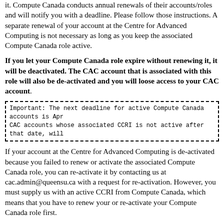it. Compute Canada conducts annual renewals of their accounts/roles and will notify you with a deadline. Please follow those instructions. A separate renewal of your account at the Centre for Advanced Computing is not necessary as long as you keep the associated Compute Canada role active.
If you let your Compute Canada role expire without renewing it, it will be deactivated. The CAC account that is associated with this role will also be de-activated and you will loose access to your CAC account.
Important: The next deadline for active Compute Canada accounts is Apr... CAC accounts whose associated CCRI is not active after that date, will...
If your account at the Centre for Advanced Computing is de-activated because you failed to renew or activate the associated Compute Canada role, you can re-activate it by contacting us at cac.admin@queensu.ca with a request for re-activation. However, you must supply us with an active CCRI from Compute Canada, which means that you have to renew your or re-activate your Compute Canada role first.
Account cleanup